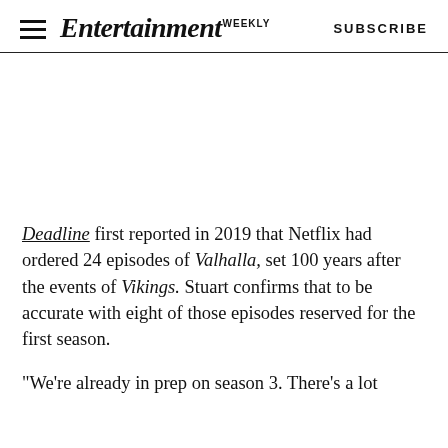Entertainment Weekly  SUBSCRIBE
[Figure (other): Advertisement or blank image space]
Deadline first reported in 2019 that Netflix had ordered 24 episodes of Valhalla, set 100 years after the events of Vikings. Stuart confirms that to be accurate with eight of those episodes reserved for the first season.
"We're already in prep on season 3. There's a lot